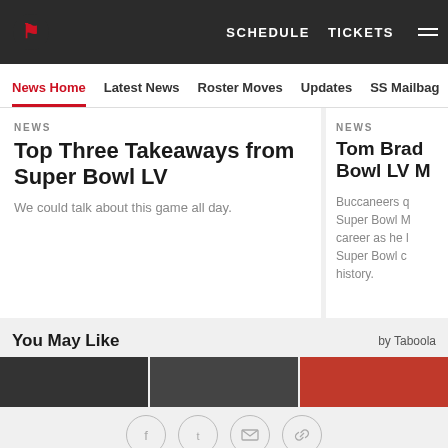SCHEDULE   TICKETS
News Home   Latest News   Roster Moves   Updates   SS Mailbag
NEWS
Top Three Takeaways from Super Bowl LV
We could talk about this game all day.
NEWS
Tom Brady Super Bowl LV
Buccaneers quarterback Tom Brady capped off his Super Bowl MVP career as he led the Bucs to a Super Bowl championship history.
You May Like
by Taboola